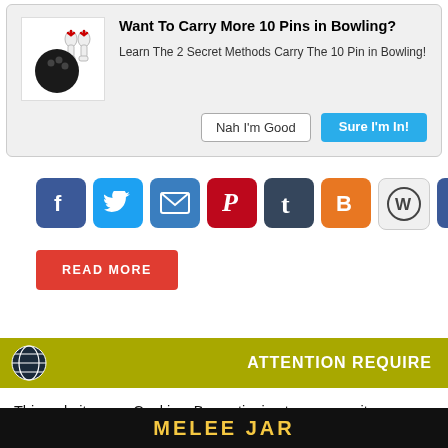[Figure (screenshot): Bowling ad popup with bowling ball and pins icon, title 'Want To Carry More 10 Pins in Bowling?', body text, and two buttons: 'Nah I'm Good' and 'Sure I'm In!']
[Figure (infographic): Row of social media share icons: Facebook, Twitter, Email, Pinterest, Tumblr, Blogger, WordPress, and a plus/more button]
READ MORE
[Figure (screenshot): Yellow attention bar with globe icon and text ATTENTION REQUIRED]
This website uses Cookies. By continuing to use our site, you consent to the use of cookies.
[Figure (screenshot): Cookie consent dialog with Accept and Privacy Center buttons]
[Figure (screenshot): Bottom banner with text MELEE JAR]